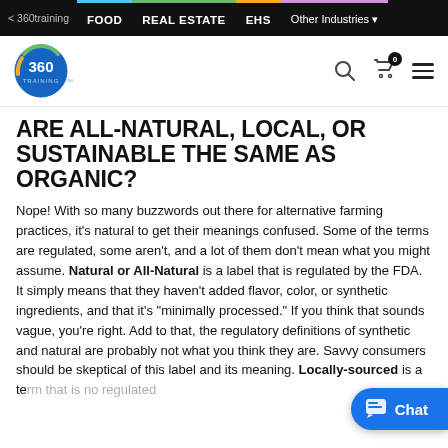< 360training  FOOD  REAL ESTATE  EHS  Other Industries
[Figure (logo): 360 Training logo with circular badge and navigation icons (search, cart with 0, hamburger menu)]
ARE ALL-NATURAL, LOCAL, OR SUSTAINABLE THE SAME AS ORGANIC?
Nope!  With so many buzzwords out there for alternative farming practices, it's natural to get their meanings confused.  Some of the terms are regulated, some aren't, and a lot of them don't mean what you might assume. Natural or All-Natural is a label that is regulated by the FDA.  It simply means that they haven't added flavor, color, or synthetic ingredients, and that it's "minimally processed."  If you think that sounds vague, you're right.  Add to that, the regulatory definitions of synthetic and natural are probably not what you think they are. Savvy consumers should be skeptical of this label and its meaning. Locally-sourced is a te... no regulated